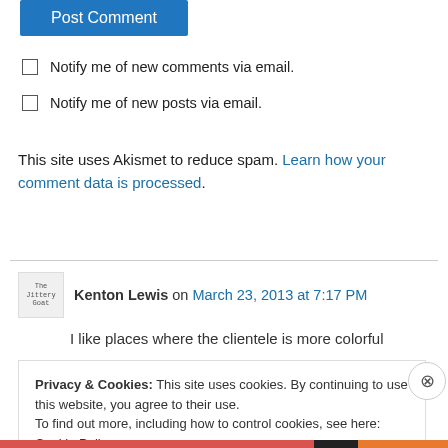Post Comment
Notify me of new comments via email.
Notify me of new posts via email.
This site uses Akismet to reduce spam. Learn how your comment data is processed.
Kenton Lewis on March 23, 2013 at 7:17 PM
I like places where the clientele is more colorful
Privacy & Cookies: This site uses cookies. By continuing to use this website, you agree to their use.
To find out more, including how to control cookies, see here: Cookie Policy
Close and accept